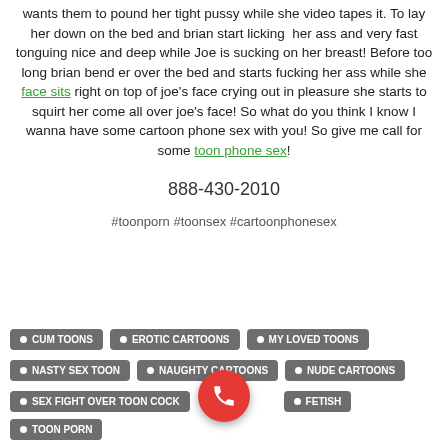wants them to pound her tight pussy while she video tapes it. To lay her down on the bed and brian start licking her ass and very fast tonguing nice and deep while Joe is sucking on her breast! Before too long brian bend er over the bed and starts fucking her ass while she face sits right on top of joe's face crying out in pleasure she starts to squirt her come all over joe's face! So what do you think I know I wanna have some cartoon phone sex with you! So give me call for some toon phone sex!
888-430-2010
#toonporn #toonsex #cartoonphonesex
CUM TOONS
EROTIC CARTOONS
MY LOVED TOONS
NASTY SEX TOON
NAUGHTY CARTOONS
NUDE CARTOONS
SEX FIGHT OVER TOON COCK
FETISH
TOON PORN